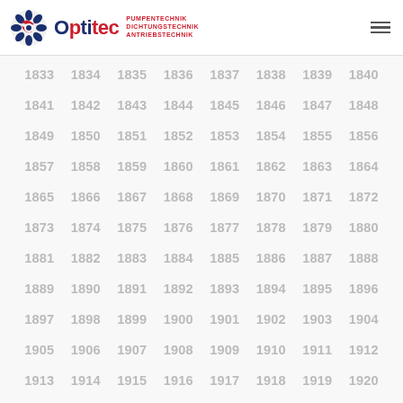Optitec – PUMPENTECHNIK DICHTUNGSTECHNIK ANTRIEBSTECHNIK
1833 1834 1835 1836 1837 1838 1839 1840 1841 1842 1843 1844 1845 1846 1847 1848 1849 1850 1851 1852 1853 1854 1855 1856 1857 1858 1859 1860 1861 1862 1863 1864 1865 1866 1867 1868 1869 1870 1871 1872 1873 1874 1875 1876 1877 1878 1879 1880 1881 1882 1883 1884 1885 1886 1887 1888 1889 1890 1891 1892 1893 1894 1895 1896 1897 1898 1899 1900 1901 1902 1903 1904 1905 1906 1907 1908 1909 1910 1911 1912 1913 1914 1915 1916 1917 1918 1919 1920